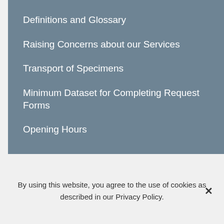Definitions and Glossary
Raising Concerns about our Services
Transport of Specimens
Minimum Dataset for Completing Request Forms
Opening Hours
By using this website, you agree to the use of cookies as described in our Privacy Policy.